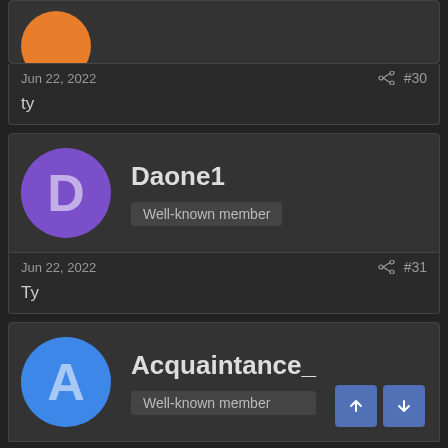[Figure (illustration): Partial orange avatar circle at top of page, cropped]
Jun 22, 2022   #30
ty
[Figure (illustration): Purple circular avatar with letter D]
Daone1
Well-known member
Jun 22, 2022   #31
Ty
[Figure (illustration): Blue circular avatar with letter A]
Acquaintance_
Well-known member